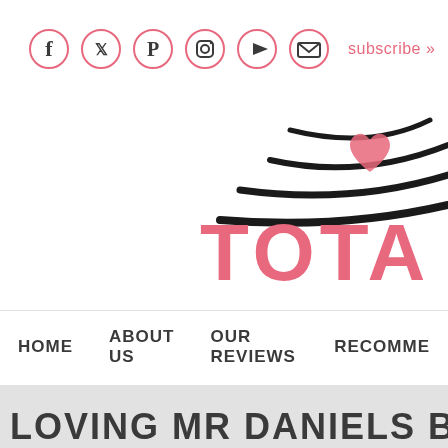Social icons: Facebook, Twitter, Pinterest, Instagram, YouTube, Email | subscribe »
[Figure (logo): Partial logo with swooping black brush stroke lines and a pink heart shape, with large pink text 'TOTA' (partially visible)]
HOME   ABOUT US   OUR REVIEWS   RECOMME...
LOVING MR DANIELS by PR...